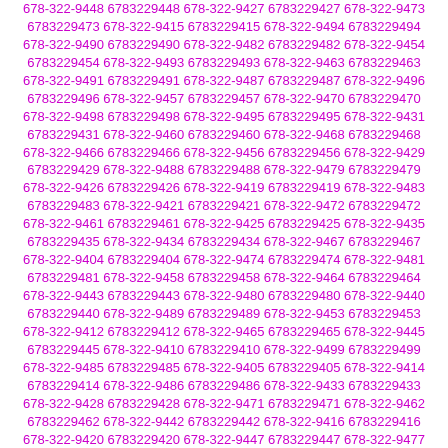678-322-9448 6783229448 678-322-9427 6783229427 678-322-9473 6783229473 678-322-9415 6783229415 678-322-9494 6783229494 678-322-9490 6783229490 678-322-9482 6783229482 678-322-9454 6783229454 678-322-9493 6783229493 678-322-9463 6783229463 678-322-9491 6783229491 678-322-9487 6783229487 678-322-9496 6783229496 678-322-9457 6783229457 678-322-9470 6783229470 678-322-9498 6783229498 678-322-9495 6783229495 678-322-9431 6783229431 678-322-9460 6783229460 678-322-9468 6783229468 678-322-9466 6783229466 678-322-9456 6783229456 678-322-9429 6783229429 678-322-9488 6783229488 678-322-9479 6783229479 678-322-9426 6783229426 678-322-9419 6783229419 678-322-9483 6783229483 678-322-9421 6783229421 678-322-9472 6783229472 678-322-9461 6783229461 678-322-9425 6783229425 678-322-9435 6783229435 678-322-9434 6783229434 678-322-9467 6783229467 678-322-9404 6783229404 678-322-9474 6783229474 678-322-9481 6783229481 678-322-9458 6783229458 678-322-9464 6783229464 678-322-9443 6783229443 678-322-9480 6783229480 678-322-9440 6783229440 678-322-9489 6783229489 678-322-9453 6783229453 678-322-9412 6783229412 678-322-9465 6783229465 678-322-9445 6783229445 678-322-9410 6783229410 678-322-9499 6783229499 678-322-9485 6783229485 678-322-9405 6783229405 678-322-9414 6783229414 678-322-9486 6783229486 678-322-9433 6783229433 678-322-9428 6783229428 678-322-9471 6783229471 678-322-9462 6783229462 678-322-9442 6783229442 678-322-9416 6783229416 678-322-9420 6783229420 678-322-9447 6783229447 678-322-9477 6783229477 678-322-9409 6783229409 678-322-9459 6783229459